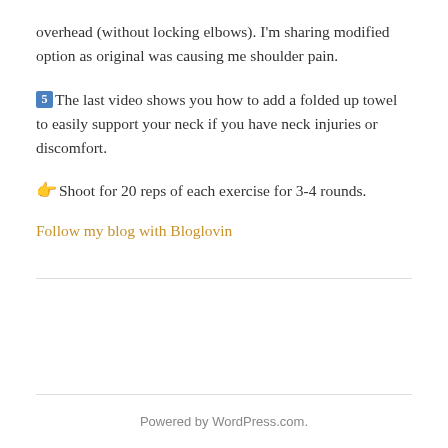overhead (without locking elbows). I'm sharing modified option as original was causing me shoulder pain.
5 The last video shows you how to add a folded up towel to easily support your neck if you have neck injuries or discomfort.
👉 Shoot for 20 reps of each exercise for 3-4 rounds.
Follow my blog with Bloglovin
Powered by WordPress.com.